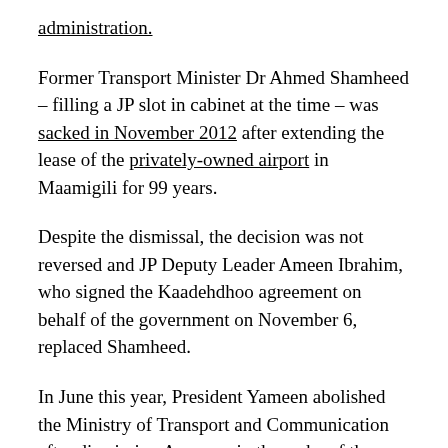administration.
Former Transport Minister Dr Ahmed Shamheed – filling a JP slot in cabinet at the time – was sacked in November 2012 after extending the lease of the privately-owned airport in Maamigili for 99 years.
Despite the dismissal, the decision was not reversed and JP Deputy Leader Ameen Ibrahim, who signed the Kaadehdhoo agreement on behalf of the government on November 6, replaced Shamheed.
In June this year, President Yameen abolished the Ministry of Transport and Communication after dismissing Ameen – in the wake of the ruling Progressive Party of Maldives severing its coalition agreement with Gasim's JP – and transferred both the Civil Aviation Authority and regional airports to